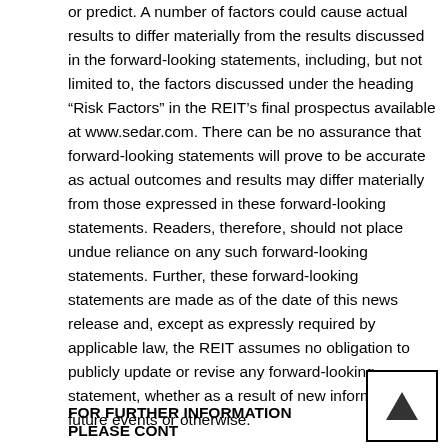or predict. A number of factors could cause actual results to differ materially from the results discussed in the forward-looking statements, including, but not limited to, the factors discussed under the heading “Risk Factors” in the REIT’s final prospectus available at www.sedar.com. There can be no assurance that forward-looking statements will prove to be accurate as actual outcomes and results may differ materially from those expressed in these forward-looking statements. Readers, therefore, should not place undue reliance on any such forward-looking statements. Further, these forward-looking statements are made as of the date of this news release and, except as expressly required by applicable law, the REIT assumes no obligation to publicly update or revise any forward-looking statement, whether as a result of new information, future events or otherwise.
FOR FURTHER INFORMATION PLEASE CONT…